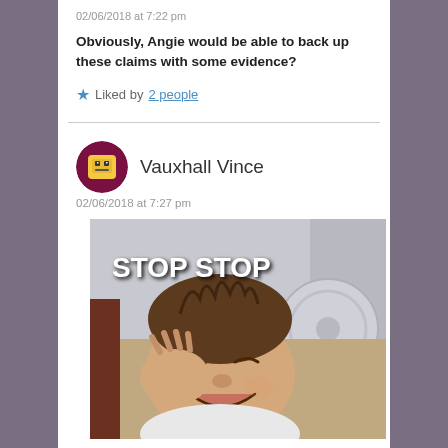02/06/2018 at 7:22 pm
Obviously, Angie would be able to back up these claims with some evidence?
★ Liked by 2 people
Vauxhall Vince
02/06/2018 at 7:27 pm
[Figure (photo): Meme image of a laughing baby with text 'STOP STOP' overlaid at the top]